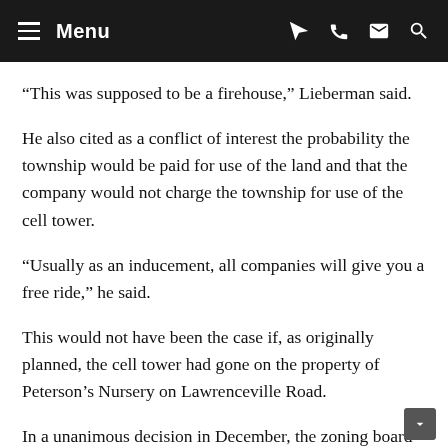Menu
“This was supposed to be a firehouse,” Lieberman said.
He also cited as a conflict of interest the probability the township would be paid for use of the land and that the company would not charge the township for use of the cell tower.
“Usually as an inducement, all companies will give you a free ride,” he said.
This would not have been the case if, as originally planned, the cell tower had gone on the property of Peterson’s Nursery on Lawrenceville Road.
In a unanimous decision in December, the zoning board decided to deny a change in zoning to construct the tower